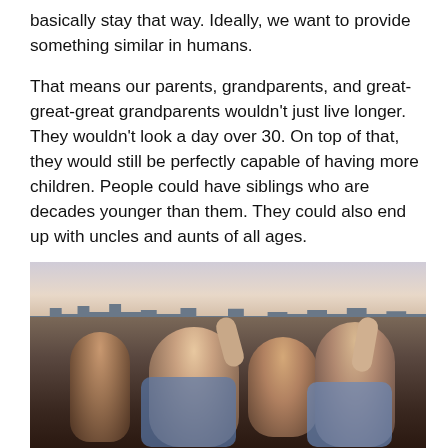basically stay that way. Ideally, we want to provide something similar in humans.
That means our parents, grandparents, and great-great-great grandparents wouldn't just live longer. They wouldn't look a day over 30. On top of that, they would still be perfectly capable of having more children. People could have siblings who are decades younger than them. They could also end up with uncles and aunts of all ages.
[Figure (photo): A group of young people celebrating on a rooftop, some with arms raised, laughing and dancing, with a city skyline and sunset sky in the background.]